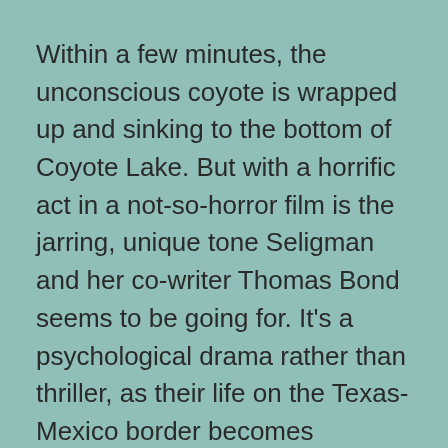Within a few minutes, the unconscious coyote is wrapped up and sinking to the bottom of Coyote Lake. But with a horrific act in a not-so-horror film is the jarring, unique tone Seligman and her co-writer Thomas Bond seems to be going for. It's a psychological drama rather than thriller, as their life on the Texas-Mexico border becomes inundated with strange visitors: some seemingly innocent families looking for food and shelter, some violent young men with guns readily at aim.
Mendes (Ester) co-stars with Adriana Barraza